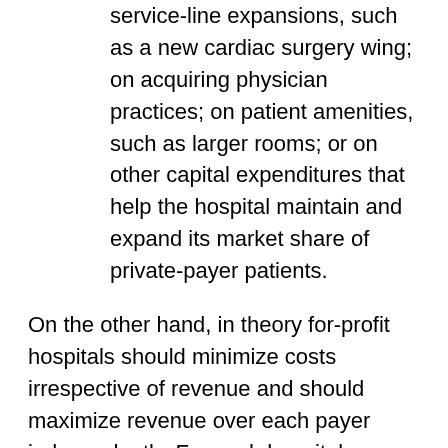service-line expansions, such as a new cardiac surgery wing; on acquiring physician practices; on patient amenities, such as larger rooms; or on other capital expenditures that help the hospital maintain and expand its market share of private-payer patients.
On the other hand, in theory for-profit hospitals should minimize costs irrespective of revenue and should maximize revenue over each payer independently. For such hospitals, neither cost shifting theory should hold. If costs don’t vary with revenue then they can’t explain Medicare margins. And a revenue maximizing firm cannot compensate for low Medicare payment with high private payment because, as for profit entities, they’re already maximizing private payment independent of other revenue sources, including Medicare.